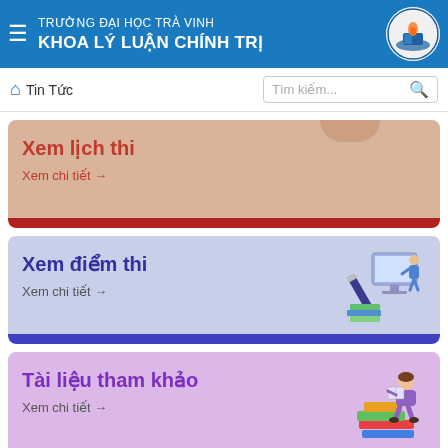TRƯỜNG ĐẠI HỌC TRÀ VINH
KHOA LÝ LUẬN CHÍNH TRỊ
🏠 Tin Tức
Tìm kiếm...
Xem lịch thi
Xem chi tiết →
Xem điểm thi
Xem chi tiết →
Tài liệu tham khảo
Xem chi tiết →